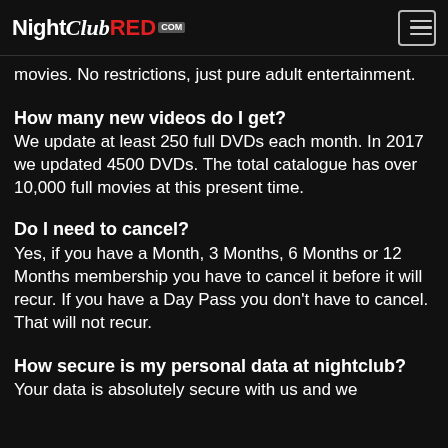NightClubRED.com
movies. No restrictions, just pure adult entertainment.
How many new videos do I get?
We update at least 250 full DVDs each month. In 2017 we updated 4500 DVDs. The total catalogue has over 10,000 full movies at this present time.
Do I need to cancel?
Yes, if you have a Month, 3 Months, 6 Months or 12 Months membership you have to cancel it before it will recur. If you have a Day Pass you don't have to cancel. That will not recur.
How secure is my personal data at nightclub?
Your data is absolutely secure with us and we